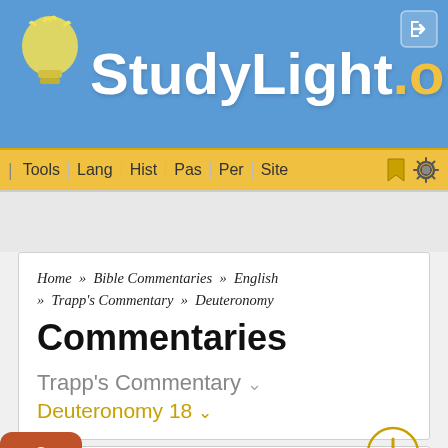StudyLight.org
Tools | Lang | Hist | Pas | Per | Site
Home » Bible Commentaries » English » Trapp's Commentary » Deuteronomy
Commentaries
Trapp's Commentary
Deuteronomy 18